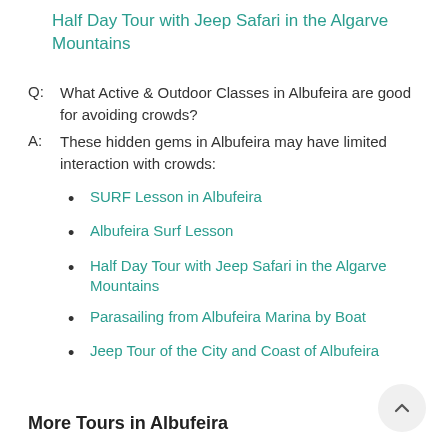Half Day Tour with Jeep Safari in the Algarve Mountains
Q:  What Active & Outdoor Classes in Albufeira are good for avoiding crowds?
A:  These hidden gems in Albufeira may have limited interaction with crowds:
SURF Lesson in Albufeira
Albufeira Surf Lesson
Half Day Tour with Jeep Safari in the Algarve Mountains
Parasailing from Albufeira Marina by Boat
Jeep Tour of the City and Coast of Albufeira
More Tours in Albufeira